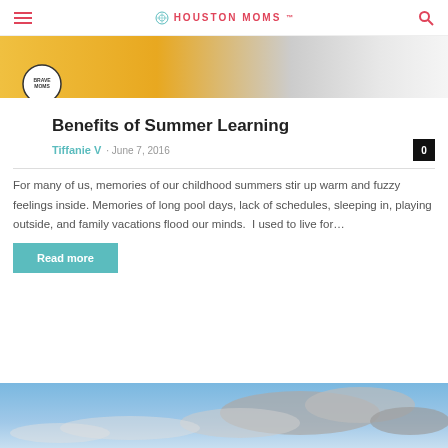HOUSTON MOMS
[Figure (photo): Top banner image with yellow/orange color and a circular logo overlay with text]
Benefits of Summer Learning
Tiffanie V  ·  June 7, 2016
For many of us, memories of our childhood summers stir up warm and fuzzy feelings inside. Memories of long pool days, lack of schedules, sleeping in, playing outside, and family vacations flood our minds.  I used to live for...
Read more
[Figure (photo): Sky with clouds photograph at bottom of page]